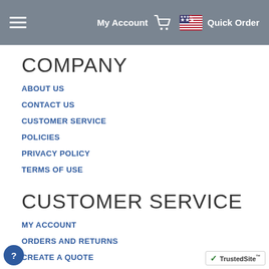My Account | Quick Order
COMPANY
ABOUT US
CONTACT US
CUSTOMER SERVICE
POLICIES
PRIVACY POLICY
TERMS OF USE
CUSTOMER SERVICE
MY ACCOUNT
ORDERS AND RETURNS
CREATE A QUOTE